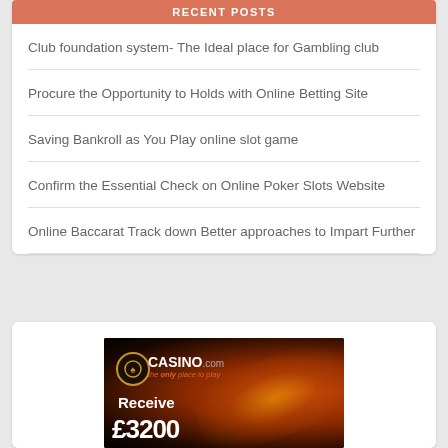RECENT POSTS
Club foundation system- The Ideal place for Gambling club
Procure the Opportunity to Holds with Online Betting Site
Saving Bankroll as You Play online slot game
Confirm the Essential Check on Online Poker Slots Website
Online Baccarat Track down Better approaches to Impart Further
[Figure (photo): Casino.com advertisement banner with dark background and orange glow effects. Shows Casino.com logo with tagline 'the only place to play', text 'Receive' and partial '£3200' in white text.]